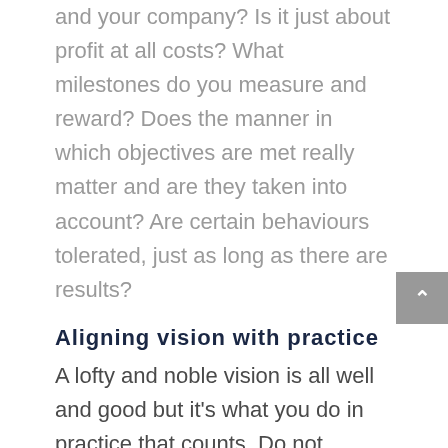and your company? Is it just about profit at all costs? What milestones do you measure and reward? Does the manner in which objectives are met really matter and are they taken into account? Are certain behaviours tolerated, just as long as there are results?
Aligning vision with practice
A lofty and noble vision is all well and good but it's what you do in practice that counts. Do not underestimate the impact that your individual actions and conduct have in setting the standards and the cultural tone. So ask yourself: Do you want to create an environment in which compromising behaviours are tolerated in the name